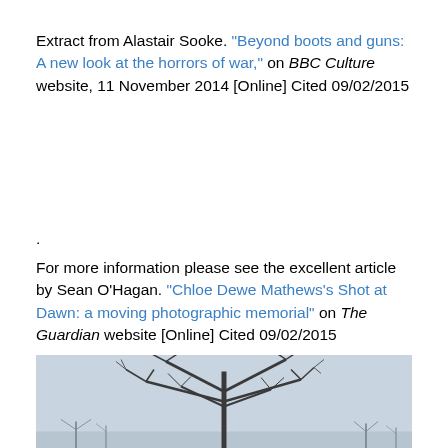Extract from Alastair Sooke. "Beyond boots and guns: A new look at the horrors of war," on BBC Culture website, 11 November 2014 [Online] Cited 09/02/2015
.
For more information please see the excellent article by Sean O’Hagan. “Chloe Dewe Mathews’s Shot at Dawn: a moving photographic memorial” on The Guardian website [Online] Cited 09/02/2015
[Figure (photo): A bare winter tree with leafless branches against a pale grey sky, with more bare trees visible in the background.]